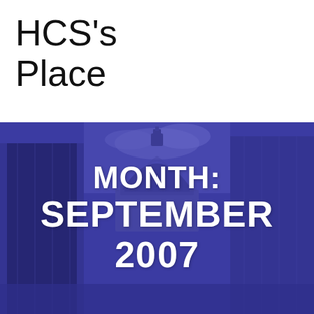HCS's Place
[Figure (photo): Photo of St Paul's Cathedral dome in London with blue/purple colour overlay tint, flanked by modern glass buildings. Large white bold text overlaid reads: MONTH: SEPTEMBER 2007]